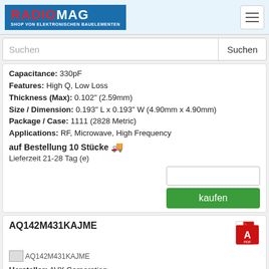RADIOMAG - SHOP VON ELEKTRONISCHEN BAUELEMENTEN
Suchen
Capacitance: 330pF
Features: High Q, Low Loss
Thickness (Max): 0.102" (2.59mm)
Size / Dimension: 0.193" L x 0.193" W (4.90mm x 4.90mm)
Package / Case: 1111 (2828 Metric)
Applications: RF, Microwave, High Frequency
auf Bestellung 10 Stücke
Lieferzeit 21-28 Tag (e)
kaufen
AQ142M431KAJME
AQ142M431KAJME
Hersteller: AVX Corporation
Description: CAP CER 430PF 200V 1111
Operating Temperature: -55°C ~ 125°C
Mounting Type: Surface Mount, MLCC
Temperature Coefficient: M
Voltage - Rated: 200V
Tolerance: ±10%
Capacitance: 430pF